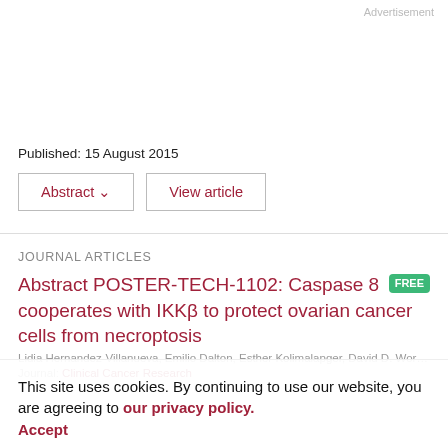Advertisement
Published: 15 August 2015
Abstract ∨   View article
JOURNAL ARTICLES
Abstract POSTER-TECH-1102: Caspase 8 cooperates with IKKβ to protect ovarian cancer cells from necroptosis
Lidia Hernandez-Villanueva, Emilio Dalton, Esther Kolimalapger, David D. Worrall, Christina M. Almoinzata
Journal: Clinical Cancer Research
This site uses cookies. By continuing to use our website, you are agreeing to our privacy policy. Accept